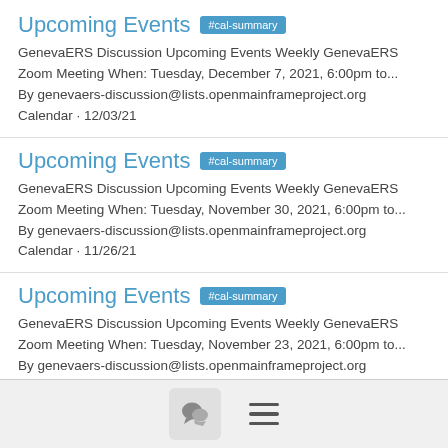Upcoming Events #cal-summary
GenevaERS Discussion Upcoming Events Weekly GenevaERS Zoom Meeting When: Tuesday, December 7, 2021, 6:00pm to... By genevaers-discussion@lists.openmainframeproject.org Calendar · 12/03/21
Upcoming Events #cal-summary
GenevaERS Discussion Upcoming Events Weekly GenevaERS Zoom Meeting When: Tuesday, November 30, 2021, 6:00pm to... By genevaers-discussion@lists.openmainframeproject.org Calendar · 11/26/21
Upcoming Events #cal-summary
GenevaERS Discussion Upcoming Events Weekly GenevaERS Zoom Meeting When: Tuesday, November 23, 2021, 6:00pm to... By genevaers-discussion@lists.openmainframeproject.org Calendar · 11/19/21
Upcoming Events #cal-summary